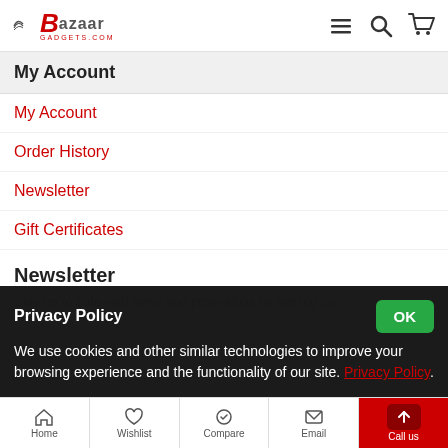[Figure (logo): Bazaar Gadgets logo with stylized B and wings]
My Account
My Account
Order History
Newsletter
Gift Certificates
Newsletter
Stay up to date with news and promotions by signing up for our newsletter.
Privacy Policy
We use cookies and other similar technologies to improve your browsing experience and the functionality of our site. Privacy Policy.
Home   Wishlist   Compare   Email   Call us